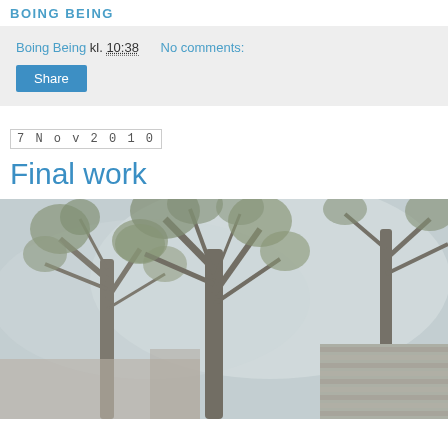BOING BEING
Boing Being kl. 10:38    No comments:
Share
7 Nov 2010
Final work
[Figure (photo): Outdoor foggy scene showing large bare trees with some foliage against a misty grey sky, with what appears to be a modern building with horizontal wooden slats in the lower right corner]